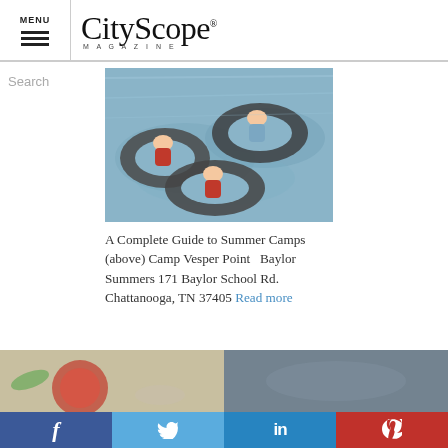MENU | CityScope MAGAZINE
Search
[Figure (photo): Children floating on inner tubes in water, summer camp activity]
A Complete Guide to Summer Camps (above) Camp Vesper Point   Baylor Summers 171 Baylor School Rd. Chattanooga, TN 37405 Read more
[Figure (photo): Bottom left partial image, food/produce photo]
[Figure (photo): Bottom right partial image, grey toned photo]